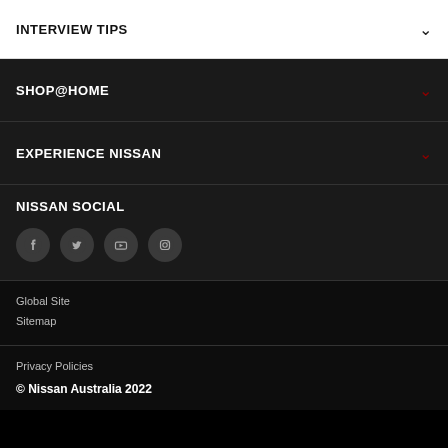INTERVIEW TIPS
SHOP@HOME
EXPERIENCE NISSAN
NISSAN SOCIAL
[Figure (infographic): Four social media icons in circles: Facebook, Twitter, YouTube, Instagram]
Global Site
Sitemap
Privacy Policies
© Nissan Australia 2022